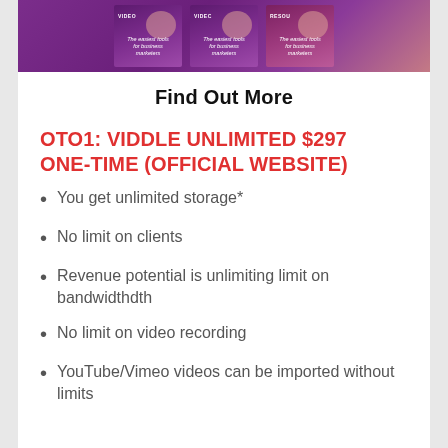[Figure (photo): Book covers displayed with purple and pink gradient background, showing video marketing resource books]
Find Out More
OTO1: VIDDLE UNLIMITED $297 ONE-TIME (OFFICIAL WEBSITE)
You get unlimited storage*
No limit on clients
Revenue potential is unlimiting limit on bandwidthdth
No limit on video recording
YouTube/Vimeo videos can be imported without limits